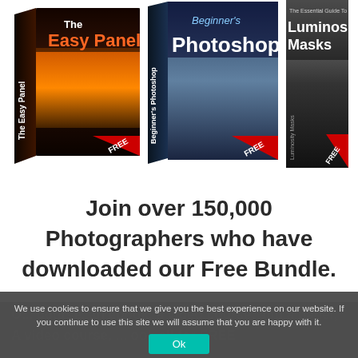[Figure (illustration): Three software product boxes arranged side by side. Left box: 'The Easy Panel' with dark reddish-brown background and FREE badge. Middle box: 'Beginner's Photoshop' with dark blue background showing building reflection and FREE badge. Right box: 'The Essential Guide To Luminosity Masks' with black and white landscape background and FREE badge.]
Join over 150,000 Photographers who have downloaded our Free Bundle.
We use cookies to ensure that we give you the best experience on our website. If you continue to use this site we will assume that you are happy with it.
Ok